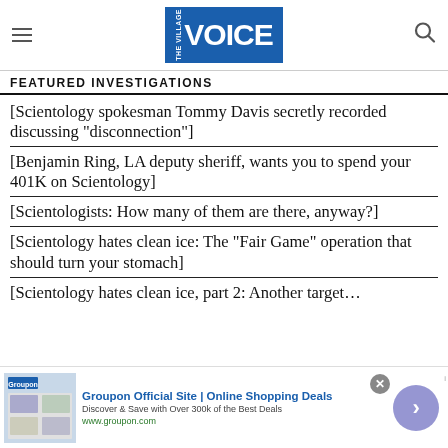[Figure (logo): The Village Voice logo in blue box with white text]
FEATURED INVESTIGATIONS
[Scientology spokesman Tommy Davis secretly recorded discussing “disconnection”]
[Benjamin Ring, LA deputy sheriff, wants you to spend your 401K on Scientology]
[Scientologists: How many of them are there, anyway?]
[Scientology hates clean ice: The “Fair Game” operation that should turn your stomach]
[Scientology hates clean ice, part 2: Another target…]
[Figure (screenshot): Groupon advertisement banner at bottom of page]